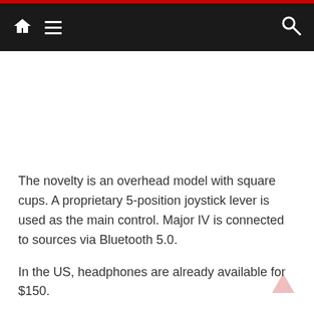Navigation bar with home icon, menu icon, and search icon
The novelty is an overhead model with square cups. A proprietary 5-position joystick lever is used as the main control. Major IV is connected to sources via Bluetooth 5.0.
In the US, headphones are already available for $150.